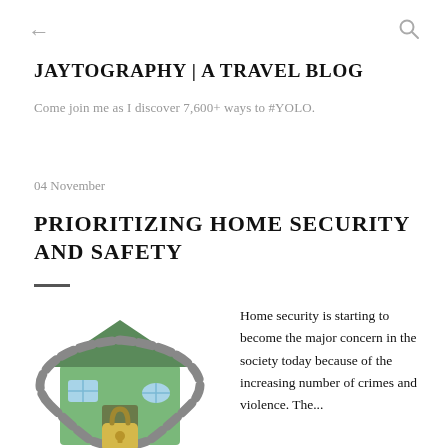← JAYTOGRAPHY | A TRAVEL BLOG — Come join me as I discover 7,600+ ways to #YOLO.
JAYTOGRAPHY | A TRAVEL BLOG
Come join me as I discover 7,600+ ways to #YOLO.
04 November
PRIORITIZING HOME SECURITY AND SAFETY
[Figure (illustration): A green house wrapped in a metal chain with a yellow padlock, illustrated in 3D style.]
Home security is starting to become the major concern in the society today because of the increasing number of crimes and violence. The...